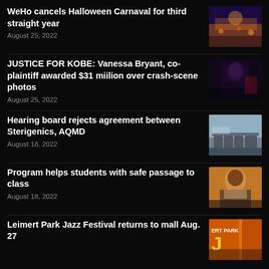WeHo cancels Halloween Carnaval for third straight year
August 25, 2022
[Figure (photo): Crowd at night event with colorful lights]
JUSTICE FOR KOBE: Vanessa Bryant, co-plaintiff awarded $31 miilion over crash-scene photos
August 25, 2022
[Figure (photo): Woman in dark clothing at podium]
Hearing board rejects agreement between Sterigenics, AQMD
August 18, 2022
[Figure (photo): Industrial building exterior with signage]
Program helps students with safe passage to class
August 18, 2022
[Figure (photo): Man smiling portrait photo]
Leimert Park Jazz Festival returns to mall Aug. 27
[Figure (photo): Leimert Park Jazz Festival signage with orange background]